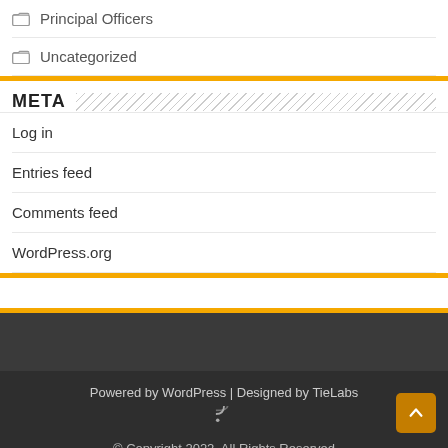Principal Officers
Uncategorized
META
Log in
Entries feed
Comments feed
WordPress.org
Powered by WordPress | Designed by TieLabs
© Copyright 2022, All Rights Reserved